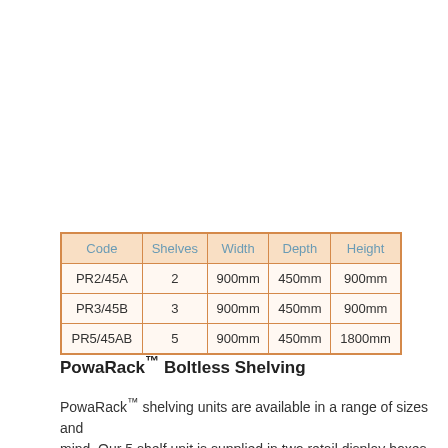| Code | Shelves | Width | Depth | Height |
| --- | --- | --- | --- | --- |
| PR2/45A | 2 | 900mm | 450mm | 900mm |
| PR3/45B | 3 | 900mm | 450mm | 900mm |
| PR5/45AB | 5 | 900mm | 450mm | 1800mm |
PowaRack™ Boltless Shelving
PowaRack™ shelving units are available in a range of sizes and mind. Our 5 shelf unit is supplied in two retail display boxes, wh individually as a 2 shelf or 3 shelf option, or added together to to the full assembly instructions contained in the pack, build op all packaging.